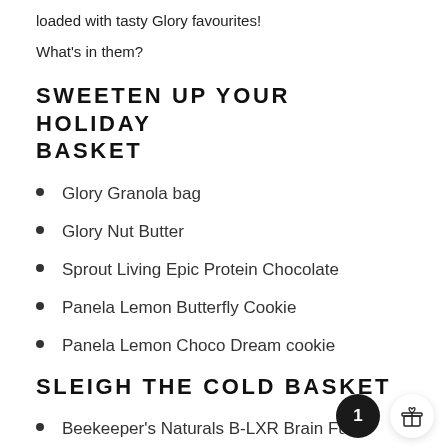loaded with tasty Glory favourites!
What's in them?
SWEETEN UP YOUR HOLIDAY BASKET
Glory Granola bag
Glory Nut Butter
Sprout Living Epic Protein Chocolate
Panela Lemon Butterfly Cookie
Panela Lemon Choco Dream cookie
SLEIGH THE COLD BASKET
Beekeeper's Naturals B-LXR Brain Fuel